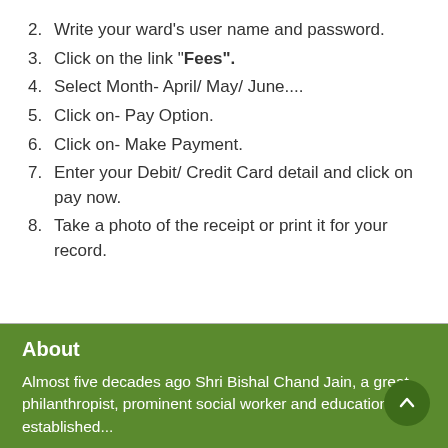2. Write your ward's user name and password.
3. Click on the link "Fees".
4. Select Month- April/ May/ June....
5. Click on- Pay Option.
6. Click on- Make Payment.
7. Enter your Debit/ Credit Card detail and click on pay now.
8. Take a photo of the receipt or print it for your record.
About
Almost five decades ago Shri Bishal Chand Jain, a great philanthropist, prominent social worker and educationist established...